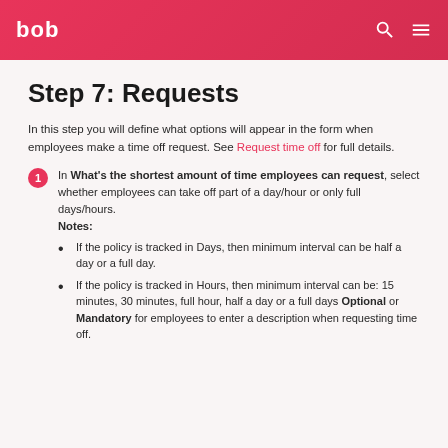bob
Step 7: Requests
In this step you will define what options will appear in the form when employees make a time off request. See Request time off for full details.
In What's the shortest amount of time employees can request, select whether employees can take off part of a day/hour or only full days/hours. Notes: If the policy is tracked in Days, then minimum interval can be half a day or a full day. If the policy is tracked in Hours, then minimum interval can be: 15 minutes, 30 minutes, full hour, half a day or a full days Optional or Mandatory for employees to enter a description when requesting time off.